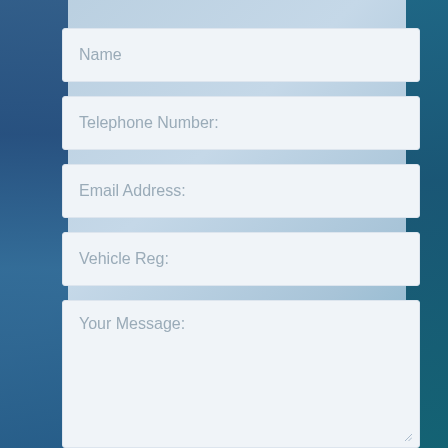Name
Telephone Number:
Email Address:
Vehicle Reg:
Your Message:
ENQUIRE NOW